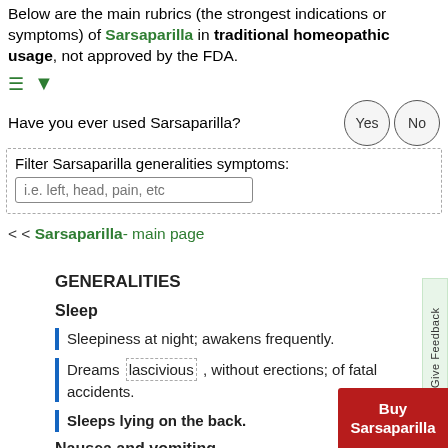Below are the main rubrics (the strongest indications or symptoms) of Sarsaparilla in traditional homeopathic usage, not approved by the FDA.
Have you ever used Sarsaparilla?
Filter Sarsaparilla generalities symptoms:
i.e. left, head, pain, etc
<< Sarsaparilla- main page
GENERALITIES
Sleep
Sleepiness at night; awakens frequently.
Dreams lascivious , without erections; of fatal accidents.
Sleeps lying on the back.
Nausea and vomiting